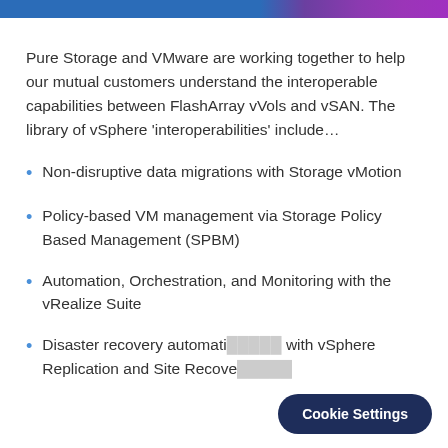Pure Storage and VMware are working together to help our mutual customers understand the interoperable capabilities between FlashArray vVols and vSAN. The library of vSphere ‘interoperabilities’ include…
Non-disruptive data migrations with Storage vMotion
Policy-based VM management via Storage Policy Based Management (SPBM)
Automation, Orchestration, and Monitoring with the vRealize Suite
Disaster recovery automation with vSphere Replication and Site Recovery...